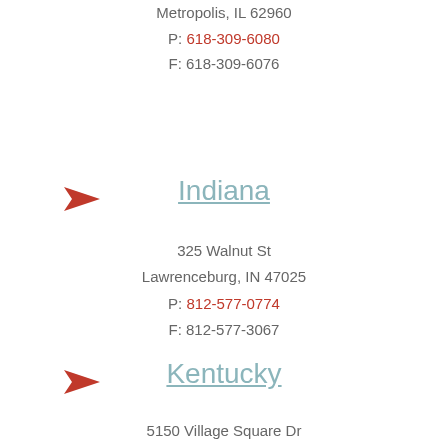Metropolis, IL 62960
P: 618-309-6080
F: 618-309-6076
Indiana
325 Walnut St
Lawrenceburg, IN 47025
P: 812-577-0774
F: 812-577-3067
Kentucky
5150 Village Square Dr
Paducah, KY 42001